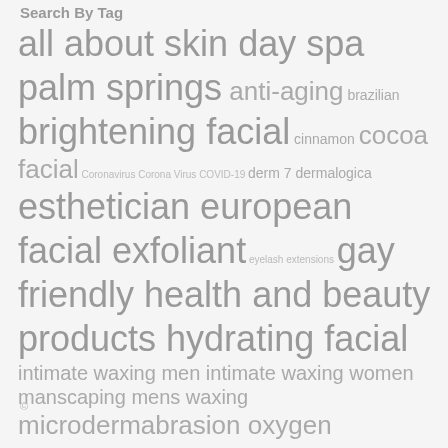Search By Tag
all about skin day spa palm springs anti-aging brazilian brightening facial cinnamon cocoa facial Coronavirus Corona Virus COVID-19 derm 7 dermalogica esthetician european facial exfoliant eyelash extensions gay friendly health and beauty products hydrating facial intimate waxing men intimate waxing women manscaping mens waxing microdermabrasion oxygen treatment skincare skin care skin treatments spf 30 womens waxing body therapies wrinkle treatments
©